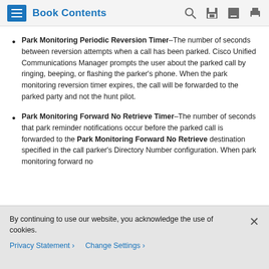Book Contents
Park Monitoring Periodic Reversion Timer–The number of seconds between reversion attempts when a call has been parked. Cisco Unified Communications Manager prompts the user about the parked call by ringing, beeping, or flashing the parker's phone. When the park monitoring reversion timer expires, the call will be forwarded to the parked party and not the hunt pilot.
Park Monitoring Forward No Retrieve Timer–The number of seconds that park reminder notifications occur before the parked call is forwarded to the Park Monitoring Forward No Retrieve destination specified in the call parker's Directory Number configuration. When park monitoring forward no
By continuing to use our website, you acknowledge the use of cookies.
Privacy Statement > Change Settings >